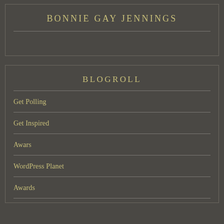BONNIE GAY JENNINGS
BLOGROLL
Get Polling
Get Inspired
Awars
WordPress Planet
Awards